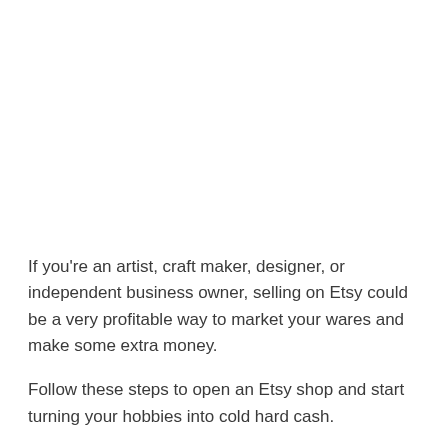If you're an artist, craft maker, designer, or independent business owner, selling on Etsy could be a very profitable way to market your wares and make some extra money.
Follow these steps to open an Etsy shop and start turning your hobbies into cold hard cash.